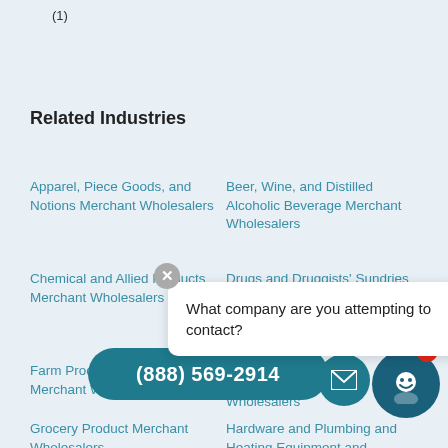(1)
Related Industries
Apparel, Piece Goods, and Notions Merchant Wholesalers
Beer, Wine, and Distilled Alcoholic Beverage Merchant Wholesalers
Chemical and Allied Products Merchant Wholesalers
Drugs and Druggists' Sundries Merchant
Farm Product Raw Merchant Wholesalers
Furnishing Merchant Wholesalers
Grocery Product Merchant Wholesalers
Hardware and Plumbing and Heating Equipment and Supplies Merchant
What company are you attempting to contact?